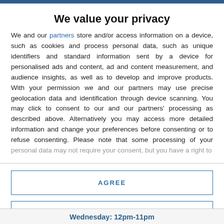We value your privacy
We and our partners store and/or access information on a device, such as cookies and process personal data, such as unique identifiers and standard information sent by a device for personalised ads and content, ad and content measurement, and audience insights, as well as to develop and improve products. With your permission we and our partners may use precise geolocation data and identification through device scanning. You may click to consent to our and our partners' processing as described above. Alternatively you may access more detailed information and change your preferences before consenting or to refuse consenting. Please note that some processing of your personal data may not require your consent, but you have a right to
AGREE
MORE OPTIONS
Wednesday: 12pm-11pm